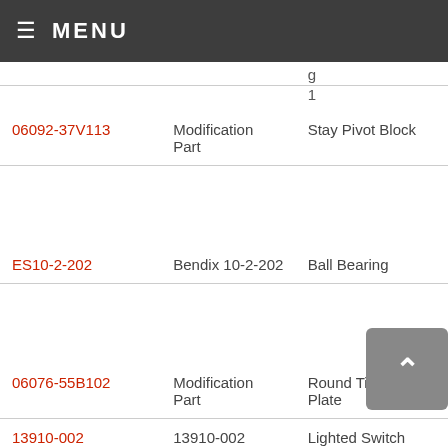MENU
| Part Number | Manufacturer | Description |
| --- | --- | --- |
|  |  | 1 |
| 06092-37V113 | Modification Part | Stay Pivot Block |
| ES10-2-202 | Bendix 10-2-202 | Ball Bearing |
| 06076-55B102 | Modification Part | Round Tinnerman Plate |
| 13910-002 | 13910-002 | Lighted Switch Assembly, Light Assembly |
|  | B&W S White | Socket assembly of HRT |